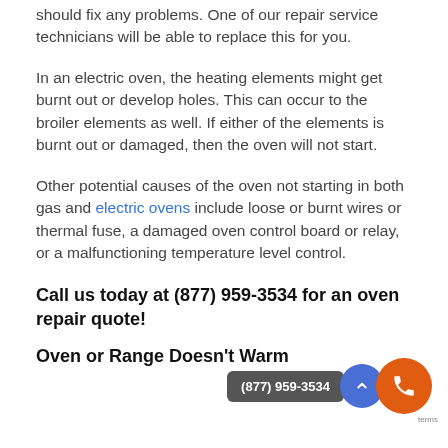should fix any problems. One of our repair service technicians will be able to replace this for you.
In an electric oven, the heating elements might get burnt out or develop holes. This can occur to the broiler elements as well. If either of the elements is burnt out or damaged, then the oven will not start.
Other potential causes of the oven not starting in both gas and electric ovens include loose or burnt wires or thermal fuse, a damaged oven control board or relay, or a malfunctioning temperature level control.
Call us today at (877) 959-3534 for an oven repair quote!
Oven or Range Doesn't Warm